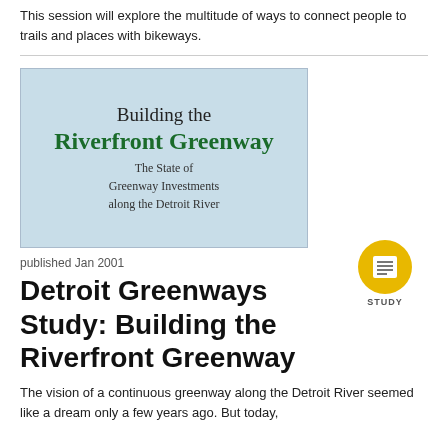This session will explore the multitude of ways to connect people to trails and places with bikeways.
[Figure (illustration): Book cover image for 'Building the Riverfront Greenway: The State of Greenway Investments along the Detroit River' with light blue background and green bold title text]
published Jan 2001
Detroit Greenways Study: Building the Riverfront Greenway
The vision of a continuous greenway along the Detroit River seemed like a dream only a few years ago. But today,